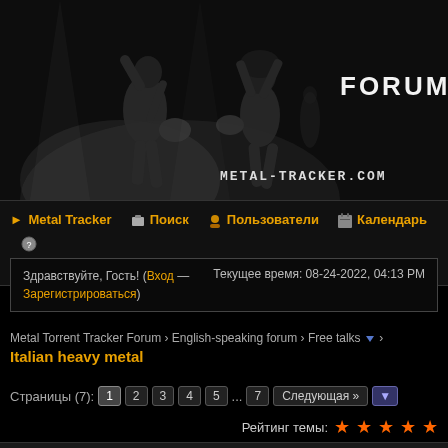[Figure (photo): Black and white photo banner of metal musicians playing guitars on stage, with 'FORUM' text in top right and 'METAL-TRACKER.COM' text at bottom right]
▶ Metal Tracker  🏠 Поиск  👤 Пользователи  📅 Календарь  ❓ Справка
Здравствуйте, Гость! (Вход — Зарегистрироваться)    Текущее время: 08-24-2022, 04:13 PM
Metal Torrent Tracker Forum › English-speaking forum › Free talks ▼ ›
Italian heavy metal
Страницы (7): 1 2 3 4 5 ... 7 Следующая »
Рейтинг темы: ★★★★★